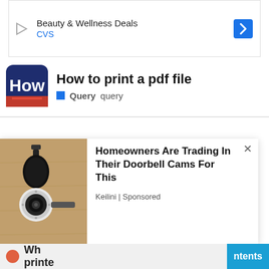[Figure (screenshot): Ad banner with play icon on left, 'Beauty & Wellness Deals' title, 'CVS' subtitle in blue, and blue diamond arrow icon on right]
How to print a pdf file
Query   query
[Figure (screenshot): Popup ad showing a wall-mounted security camera lamp on left, with text 'Homeowners Are Trading In Their Doorbell Cams For This', source 'Keilini | Sponsored', and close X button]
Wh... printe...
ntents